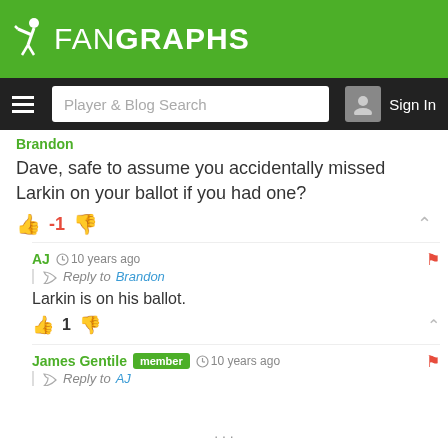FanGraphs
Player & Blog Search | Sign In
Dave, safe to assume you accidentally missed Larkin on your ballot if you had one?
-1
AJ  10 years ago
Reply to Brandon
Larkin is on his ballot.
1
James Gentile  member  10 years ago
Reply to AJ